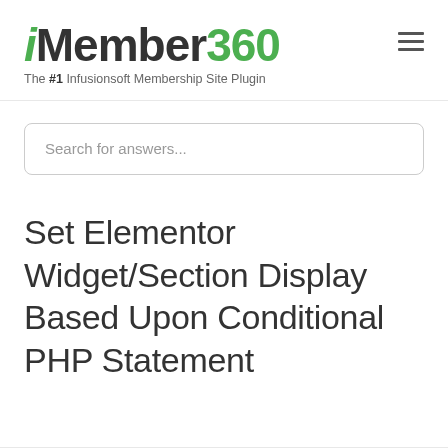iMember360 – The #1 Infusionsoft Membership Site Plugin
Search for answers...
Set Elementor Widget/Section Display Based Upon Conditional PHP Statement